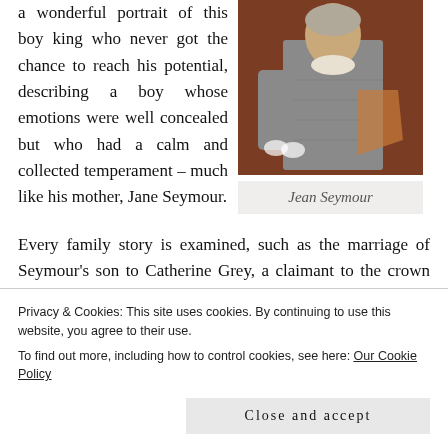a wonderful portrait of this boy king who never got the chance to reach his potential, describing a boy whose emotions were well concealed but who had a calm and collected temperament – much like his mother, Jane Seymour.
[Figure (photo): A historical portrait painting of Jean Seymour, showing a figure in period dress against a reddish-brown background.]
Jean Seymour
Every family story is examined, such as the marriage of Seymour's son to Catherine Grey, a claimant to the crown under Elizabeth I, which led to stays in the Tower of
Privacy & Cookies: This site uses cookies. By continuing to use this website, you agree to their use.
To find out more, including how to control cookies, see here: Our Cookie Policy